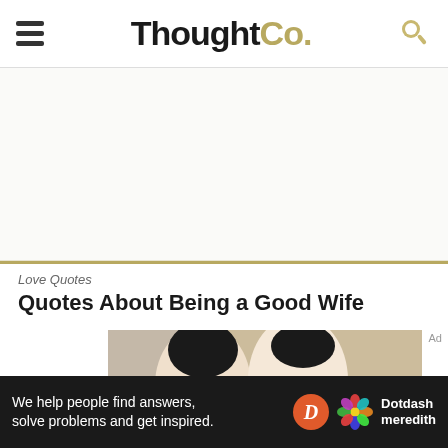ThoughtCo.
Love Quotes
Quotes About Being a Good Wife
[Figure (photo): A man kissing a smiling woman on the cheek, appearing to be at a wedding or formal event, with a decorative background.]
We help people find answers, solve problems and get inspired.
[Figure (logo): Dotdash meredith logo with orange D circle and colorful flower icon]